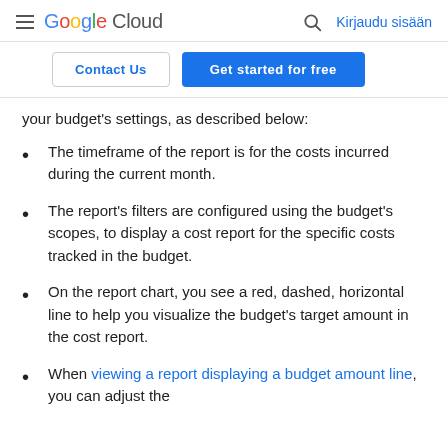Google Cloud | Kirjaudu sisään
Contact Us | Get started for free
your budget's settings, as described below:
The timeframe of the report is for the costs incurred during the current month.
The report's filters are configured using the budget's scopes, to display a cost report for the specific costs tracked in the budget.
On the report chart, you see a red, dashed, horizontal line to help you visualize the budget's target amount in the cost report.
When viewing a report displaying a budget amount line, you can adjust the